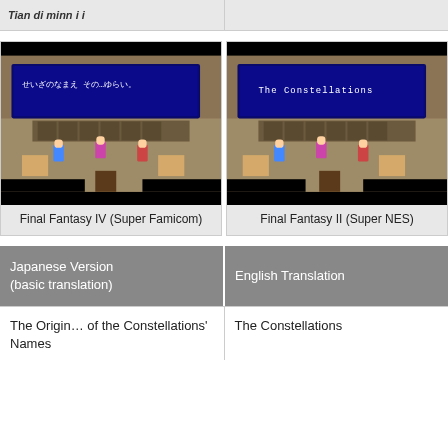Final Fantasy IV (Super Famicom)
Final Fantasy II (Super NES)
[Figure (screenshot): SNES/Super Famicom game screenshot showing a room interior with Japanese text dialog box reading 'せいざのなまえ その…ゆらい。']
Final Fantasy IV (Super Famicom)
[Figure (screenshot): SNES game screenshot showing same room interior with English text dialog box reading 'The Constellations']
Final Fantasy II (Super NES)
Japanese Version (basic translation)
English Translation
The Origin… of the Constellations' Names
The Constellations